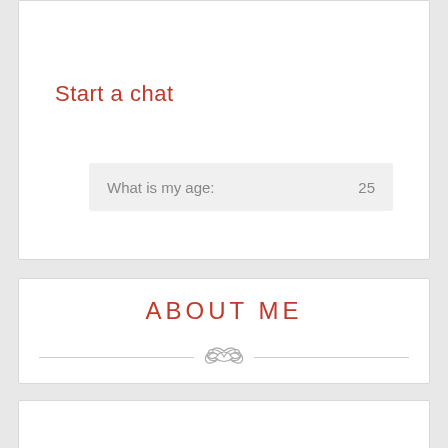Start a chat
What is my age:                                     25
ABOUT ME
[Figure (illustration): Decorative ornament divider with scrollwork between two horizontal lines]
...